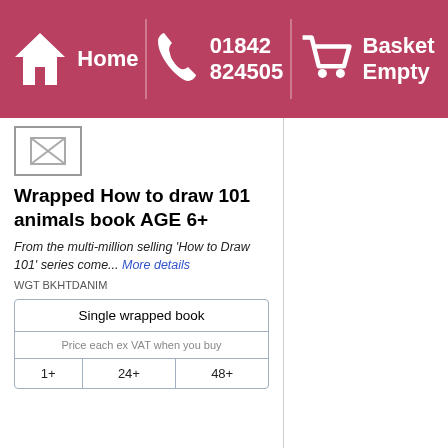Home | 01842 824505 | Basket Empty
[Figure (screenshot): Broken image placeholder icon (small box with X)]
Wrapped How to draw 101 animals book AGE 6+
From the multi-million selling 'How to Draw 101' series come... More details
WGT BKHTDANIM
| Single wrapped book |
| --- |
| Price each ex VAT when you buy |
| 1+ | 24+ | 48+ |